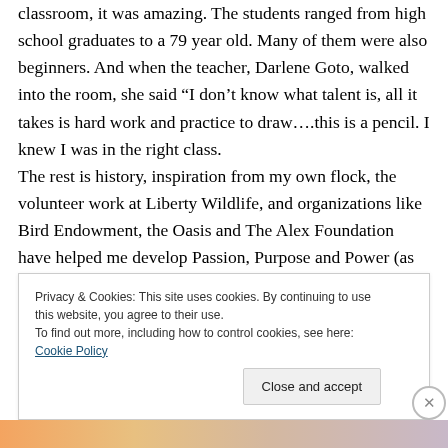classroom, it was amazing. The students ranged from high school graduates to a 79 year old. Many of them were also beginners. And when the teacher, Darlene Goto, walked into the room, she said “I don’t know what talent is, all it takes is hard work and practice to draw….this is a pencil. I knew I was in the right class.
The rest is history, inspiration from my own flock, the volunteer work at Liberty Wildlife, and organizations like Bird Endowment, the Oasis and The Alex Foundation have helped me develop Passion, Purpose and Power (as
Privacy & Cookies: This site uses cookies. By continuing to use this website, you agree to their use.
To find out more, including how to control cookies, see here: Cookie Policy